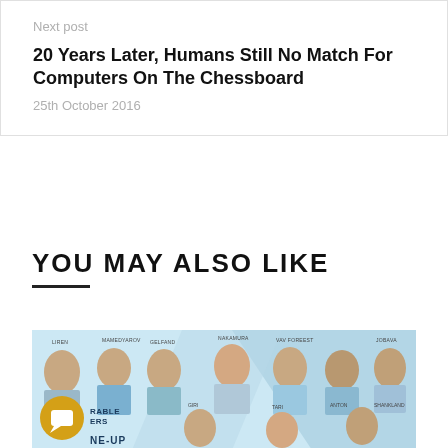22nd October 2016
Next post
20 Years Later, Humans Still No Match For Computers On The Chessboard
25th October 2016
YOU MAY ALSO LIKE
[Figure (photo): Group photo of chess players lineup for a tournament, with player names and labels visible over a blue geometric background. A gold circular badge/icon is visible in the lower left. Text reads 'LINE-UP' partially visible.]